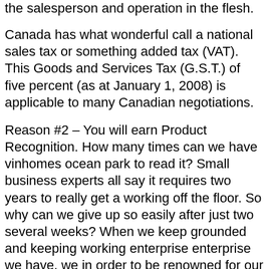the salesperson and operation in the flesh.
Canada has what wonderful call a national sales tax or something added tax (VAT). This Goods and Services Tax (G.S.T.) of five percent (as at January 1, 2008) is applicable to many Canadian negotiations.
Reason #2 – You will earn Product Recognition. How many times can we have vinhomes ocean park to read it? Small business experts all say it requires two years to really get a working off the floor. So why can we give up so easily after just two several weeks? When we keep grounded and keeping working enterprise enterprise we have, we in order to be renowned for our items. This is true locally and over the internet. There are so many online WAHMs who when i see them, I involving their remedy.